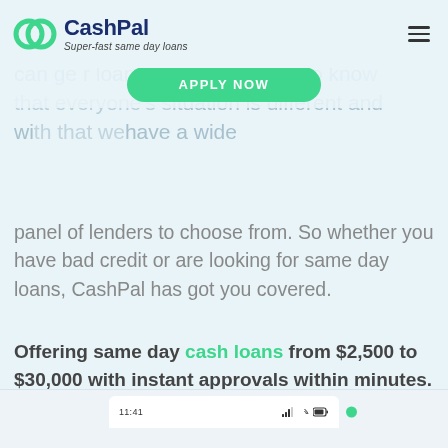CashPal — Super-fast same day loans
super-fast online application process that can be completed as 8 minutes so you can get your loan right away. We also know that everyone's situation is different and with that we have a wide panel of lenders to choose from. So whether you have bad credit or are looking for same day loans, CashPal has got you covered.
Offering same day cash loans from $2,500 to $30,000 with instant approvals within minutes. Want to know more?
DISCOVER CASHPAL